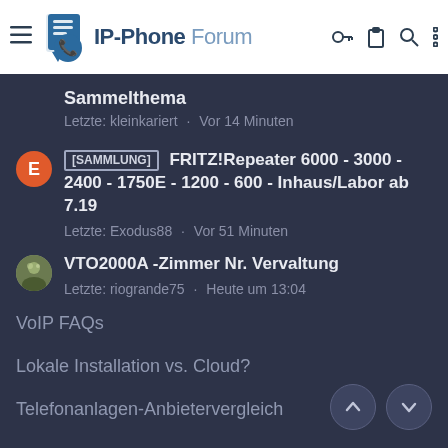IP-Phone Forum
Sammelthema
Letzte: kleinkariert · Vor 14 Minuten
[SAMMLUNG] FRITZ!Repeater 6000 - 3000 - 2400 - 1750E - 1200 - 600 - Inhaus/Labor ab 7.19
Letzte: Exodus88 · Vor 51 Minuten
VTO2000A -Zimmer Nr. Vervaltung
Letzte: riogrande75 · Heute um 13:04
VoIP FAQs
Lokale Installation vs. Cloud?
Telefonanlagen-Anbietervergleich